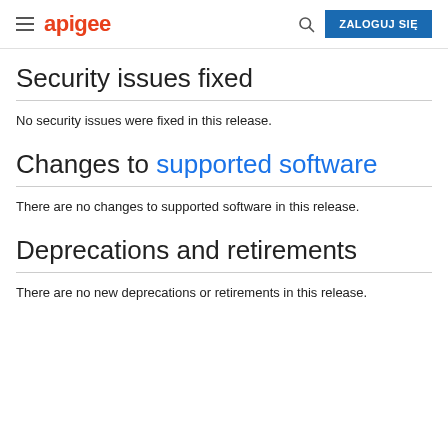apigee | ZALOGUJ SIĘ
Security issues fixed
No security issues were fixed in this release.
Changes to supported software
There are no changes to supported software in this release.
Deprecations and retirements
There are no new deprecations or retirements in this release.